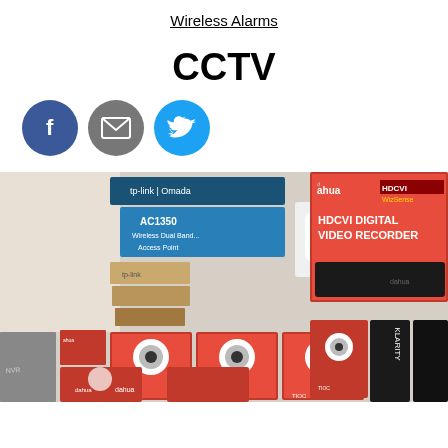Wireless Alarms
CCTV
[Figure (illustration): Three social media/share icons: Facebook (blue circle with 'f'), Email (grey circle with envelope), Twitter (light blue circle with bird)]
[Figure (photo): Photo of stacked CCTV product boxes including Dahua HDCVI Digital Video Recorder boxes, Dahua camera boxes (TIOC series), and TP-Link network equipment boxes (AC1350, Omada) on a shelf or floor.]